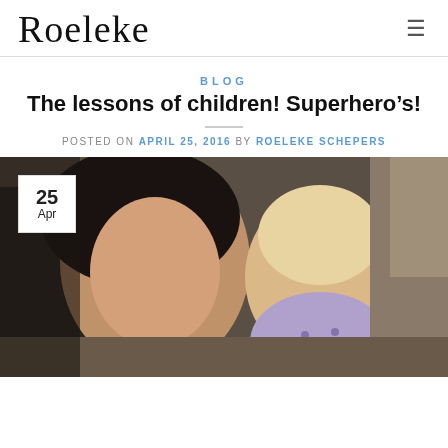Roeleke
BLOG
The lessons of children! Superhero’s!
POSTED ON APRIL 25, 2016 BY ROELEKE SCHEPERS
[Figure (photo): A woman and a toddler taking a selfie indoors. The woman is smiling at the camera. The toddler is wearing a purple polka-dot outfit. A date badge showing '25 Apr' is overlaid in the top-left corner of the photo.]